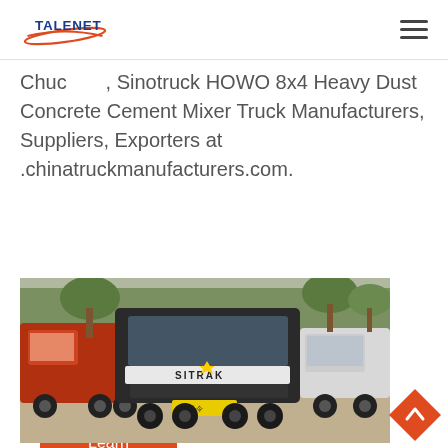TALENET
Chuc..., Sinotruck HOWO 8x4 Heavy Dust Concrete Cement Mixer Truck Manufacturers, Suppliers, Exporters at .chinatruckmanufacturers.com.
Learn More
[Figure (photo): A SITRAK branded heavy truck (dark/black cab) parked in a lot with a red truck to its left and a white truck to its right, trees in background.]